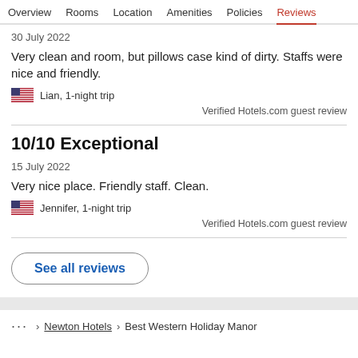Overview  Rooms  Location  Amenities  Policies  Reviews
30 July 2022
Very clean and room, but pillows case kind of dirty. Staffs were nice and friendly.
Lian, 1-night trip
Verified Hotels.com guest review
10/10 Exceptional
15 July 2022
Very nice place. Friendly staff. Clean.
Jennifer, 1-night trip
Verified Hotels.com guest review
See all reviews
... > Newton Hotels > Best Western Holiday Manor